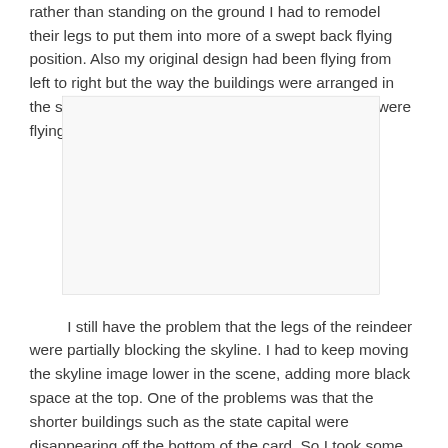rather than standing on the ground I had to remodel their legs to put them into more of a swept back flying position. Also my original design had been flying from left to right but the way the buildings were arranged in the skyline I had to flip the reindeer around so they were flying right to left.
[Figure (photo): A large blank/white rectangular image placeholder with a light gray border.]
I still have the problem that the legs of the reindeer were partially blocking the skyline. I had to keep moving the skyline image lower in the scene, adding more black space at the top. One of the problems was that the shorter buildings such as the state capital were disappearing off the bottom of the card. So I took some creative license and did a cut and paste to move the